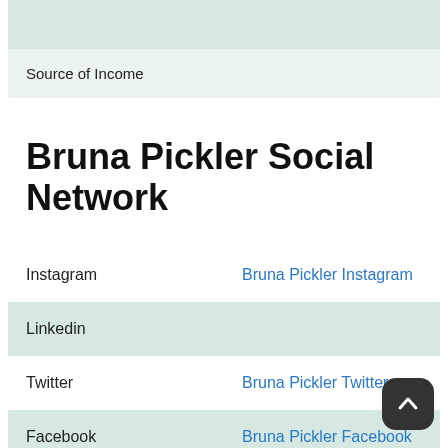|  |  |
| --- | --- |
|  |  |
| Source of Income |  |
Bruna Pickler Social Network
|  |  |
| --- | --- |
| Instagram | Bruna Pickler Instagram |
| Linkedin |  |
| Twitter | Bruna Pickler Twitter |
| Facebook | Bruna Pickler Facebook |
| Wikipedia | Bruna Pickler Wikipedia |
| Imdb |  |